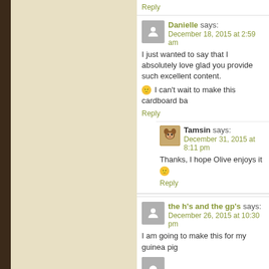Reply
Danielle says: December 18, 2015 at 2:59 am
I just wanted to say that I absolutely love glad you provide such excellent content.
🙂 I can't wait to make this cardboard ba
Reply
Tamsin says: December 31, 2015 at 8:11 pm
Thanks, I hope Olive enjoys it 🙂
Reply
the h's and the gp's says: December 26, 2015 at 10:30 pm
I am going to make this for my guinea pig
Reply